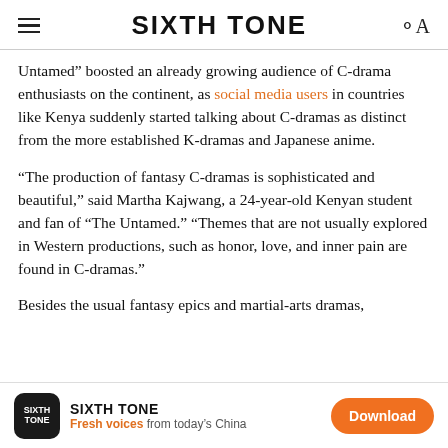SIXTH TONE
Untamed” boosted an already growing audience of C-drama enthusiasts on the continent, as social media users in countries like Kenya suddenly started talking about C-dramas as distinct from the more established K-dramas and Japanese anime.
“The production of fantasy C-dramas is sophisticated and beautiful,” said Martha Kajwang, a 24-year-old Kenyan student and fan of “The Untamed.” “Themes that are not usually explored in Western productions, such as honor, love, and inner pain are found in C-dramas.”
Besides the usual fantasy epics and martial-arts dramas,
SIXTH TONE — Fresh voices from today’s China — Download